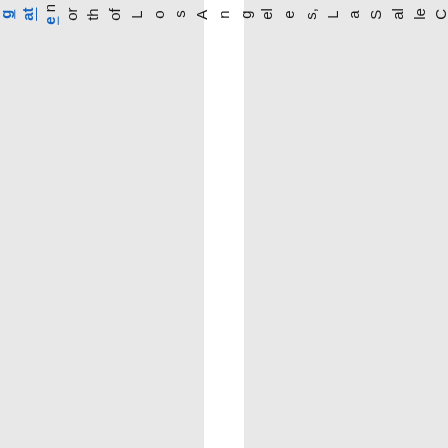fieldgate north of Los Angeles, La Salle Count